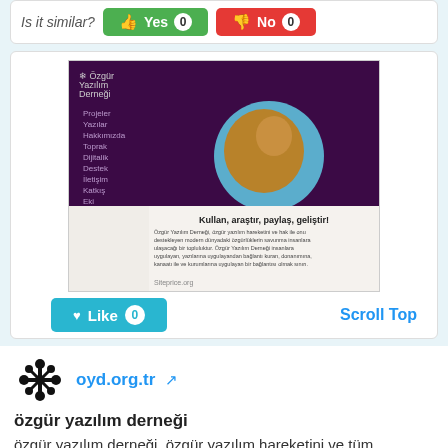Is it similar? Yes 0  No 0
[Figure (screenshot): Screenshot of oyd.org.tr website showing a purple navigation menu and content about Özgür Yazılım Derneği with text 'Kullan, araştır, paylaş, geliştir!']
Like 0   Scroll Top
[Figure (logo): Özgür Yazılım Derneği logo - stylized snowflake/flower pattern in black]
oyd.org.tr
özgür yazılım derneği
özgür yazılım derneği, özgür yazılım hareketini ve tüm insanların modern dünyadaki özgürlüklerini savunan bir